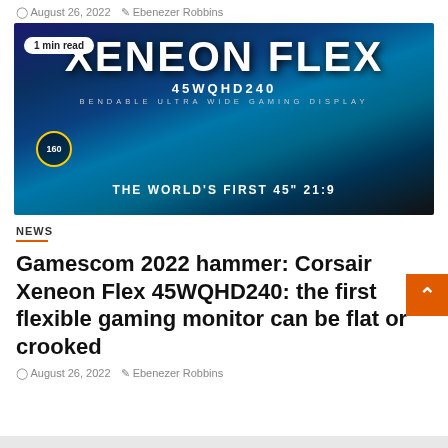August 26, 2022  Ebenezer Robbins
[Figure (photo): Corsair Xeneon Flex 45WQHD240 bendable ultra wide gaming display monitor showing a racing game, with text: XENEON FLEX, 45WQHD240, BENDABLE ULTRA WIDE GAMING DISPLAY, THE WORLD'S FIRST 45" 21:9. Badge showing '1 min read'.]
NEWS
Gamescom 2022 hammer: Corsair Xeneon Flex 45WQHD240: the first flexible gaming monitor can be flat or crooked
August 26, 2022  Ebenezer Robbins